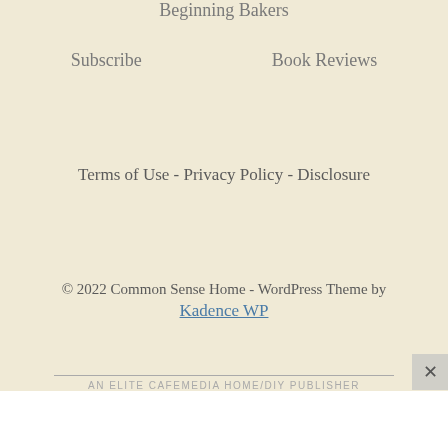Beginning Bakers
Subscribe    Book Reviews
Terms of Use - Privacy Policy - Disclosure
© 2022 Common Sense Home - WordPress Theme by Kadence WP
AN ELITE CAFEMEDIA HOME/DIY PUBLISHER